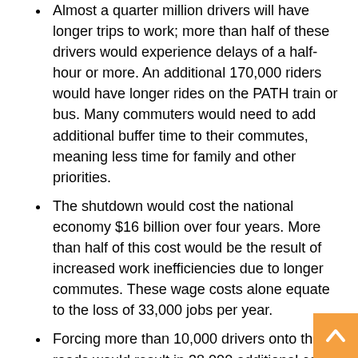Almost a quarter million drivers will have longer trips to work; more than half of these drivers would experience delays of a half-hour or more. An additional 170,000 riders would have longer rides on the PATH train or bus. Many commuters would need to add additional buffer time to their commutes, meaning less time for family and other priorities.
The shutdown would cost the national economy $16 billion over four years. More than half of this cost would be the result of increased work inefficiencies due to longer commutes. These wage costs alone equate to the loss of 33,000 jobs per year.
Forcing more than 10,000 drivers onto the roads would result in 38,000 additional car crashes that would result in thousands of injuries and 90-100 preventable deaths.
Transportation is nodal; other forms of transit malfunctions or shutdowns would have a compounding effect on people's ability to get around regionally. Every time PATH, the Port Authority Bus Terminal, the New York City subway,